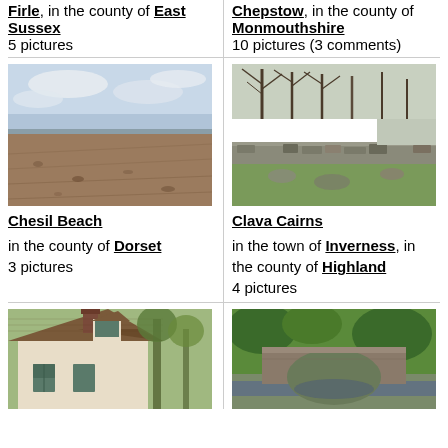Firle, in the county of East Sussex
5 pictures
Chepstow, in the county of Monmouthshire
10 pictures (3 comments)
[Figure (photo): Beach with pebbles and sea horizon under cloudy sky]
Chesil Beach
in the county of Dorset
3 pictures
[Figure (photo): Stone circle or cairn with bare trees in background]
Clava Cairns
in the town of Inverness, in the county of Highland
4 pictures
[Figure (photo): Cottage with tiled roof and chimney among trees]
[Figure (photo): Stone arch bridge over a stream with green vegetation]